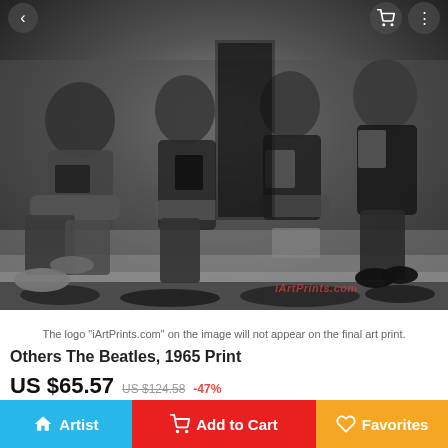[Figure (photo): Black and white photograph of The Beatles (four members) sitting on steps outside a building, each holding books, circa 1965. Watermark 'iArtPrints.com' visible in lower right corner.]
The logo "iArtPrints.com" on the image will not appear on the final art print.
Others The Beatles, 1965 Print
US $65.57  US $124.58  -47%